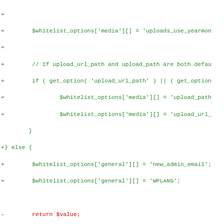[Figure (screenshot): A code diff view showing PHP source code changes. Green lines prefixed with '+' indicate additions, red lines prefixed with '-' indicate deletions. The code shows modifications to whitelist_options array assignments and function documentation blocks.]